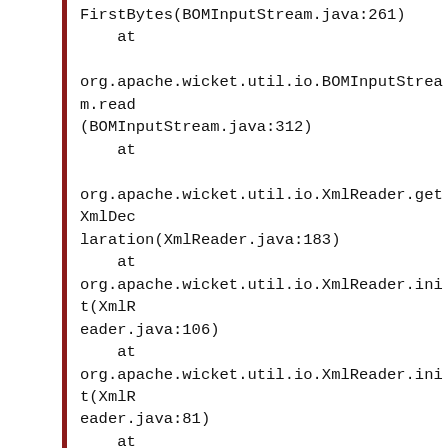FirstBytes(BOMInputStream.java:261)
    at

org.apache.wicket.util.io.BOMInputStream.read(BOMInputStream.java:312)
    at

org.apache.wicket.util.io.XmlReader.getXmlDeclaration(XmlReader.java:183)
    at
org.apache.wicket.util.io.XmlReader.init(XmlReader.java:106)
    at
org.apache.wicket.util.io.XmlReader.init(XmlReader.java:81)
    at

org.apache.wicket.markup.parser.XmlPullParser.parse(XmlPullParser.java:605)
    at

org.apache.wicket.markup.AbstractMarkupParser.parse(AbstractMarkupParser.java:178)